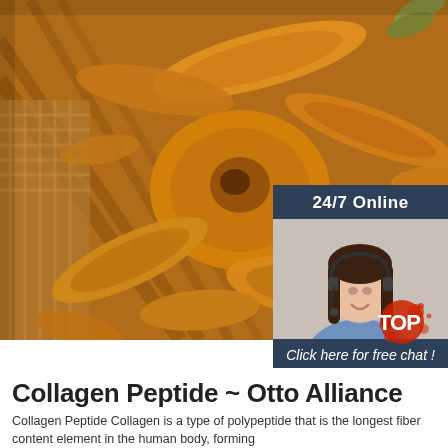[Figure (photo): Close-up photo of dried turmeric root slices piled on a woven bamboo basket, showing orange-yellow colored pieces with rough textured surfaces.]
[Figure (infographic): Online chat widget overlay with dark blue/slate background. Shows '24/7 Online' header, photo of a smiling woman with headset (customer service agent), text 'Click here for free chat!', and an orange 'QUOTATION' button.]
[Figure (logo): TOP logo badge in red/orange with splash effect in lower right corner of image area.]
Collagen Peptide ~ Otto Alliance
Collagen Peptide Collagen is a type of polypeptide that is the longest fiber content element in the human body, forming...